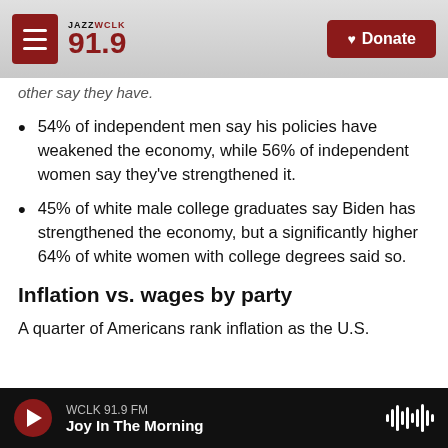[Figure (screenshot): WCLK Jazz 91.9 radio station website header with logo and Donate button]
other say they have.
54% of independent men say his policies have weakened the economy, while 56% of independent women say they've strengthened it.
45% of white male college graduates say Biden has strengthened the economy, but a significantly higher 64% of white women with college degrees said so.
Inflation vs. wages by party
A quarter of Americans rank inflation as the U.S.
WCLK 91.9 FM · Joy In The Morning